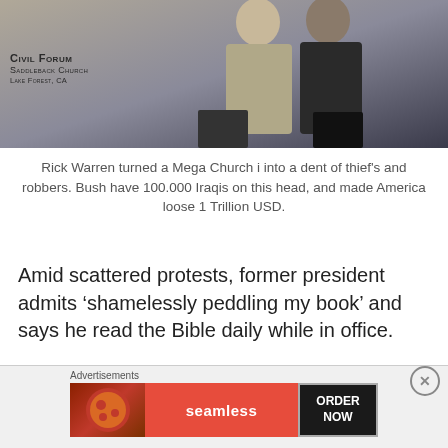[Figure (photo): Two men in suits standing on stage at Civil Forum, Saddleback Church, Lake Forest, CA. One in light gray suit, one in dark suit. Purple background visible.]
Rick Warren turned a Mega Church i into a dent of thief's and robbers. Bush have 100.000 Iraqis on this head, and made America loose 1 Trillion USD.
Amid scattered protests, former president admits ‘shamelessly peddling my book’ and says he read the Bible daily while in office.
[Figure (other): Advertisements banner: Seamless food delivery with pizza image on left and ORDER NOW button on right.]